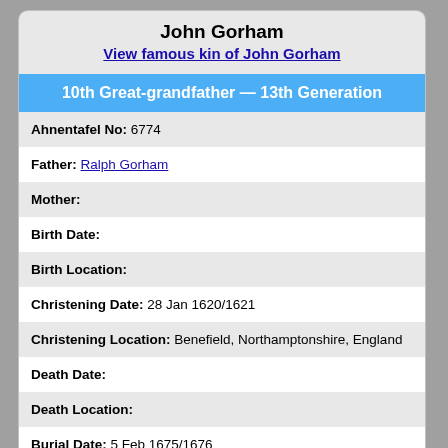John Gorham
View famous kin of John Gorham
10th Great-grandfather — 13th Generation
Ahnentafel No: 6774
Father: Ralph Gorham
Mother:
Birth Date:
Birth Location:
Christening Date: 28 Jan 1620/1621
Christening Location: Benefield, Northamptonshire, England
Death Date:
Death Location:
Burial Date: 5 Feb 1675/1676
Burial Location: Swansea, Bristol, Massachusetts